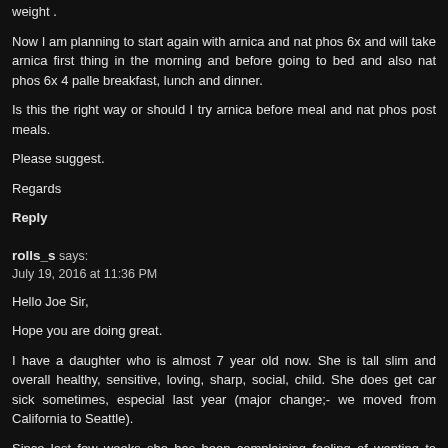weight .
Now I am planning to start again with arnica and nat phos 6x and will take arnica first thing in the morning and before going to bed and also nat phos 6x 4 pallets before breakfast, lunch and dinner.
Is this the right way or should I try arnica before meal and nat phos post meals.
Please suggest.
Regards
Reply
rolls_s says:
July 19, 2016 at 11:36 PM
Hello Joe Sir,
Hope you are doing great.
I have a daughter who is almost 7 year old now. She is tall slim and overall healthy, sensitive, loving, sharp, social, child. She does get car sick sometimes, especially last year (major change;- we moved from California to Seattle).
Since last few weeks she has been complaining feeling of wanting to throw up and lump in throat, off and on. Mostly it was happening after dinner, but now it happens even during the day , after waking up or after meal. She also complains intermittent stomach ac...
Allopathy doctor checked up/did xray and said could be mild constipation and we should try Mylanta/miralax and taking water and veggies/fiber. We have been trying to f...